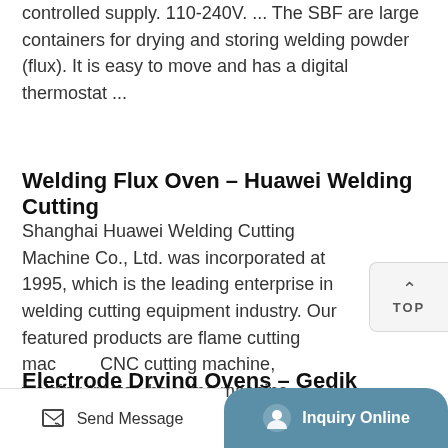controlled supply. 110-240V. ... The SBF are large containers for drying and storing welding powder (flux). It is easy to move and has a digital thermostat ...
Welding Flux Oven – Huawei Welding Cutting
Shanghai Huawei Welding Cutting Machine Co., Ltd. was incorporated at 1995, which is the leading enterprise in welding cutting equipment industry. Our featured products are flame cutting machine, CNC cutting machine, welding tractor, beveling machine, electrode dryer and oven. We are professional Chinese manufacture which focus on this industry for more than 20 ...
Electrode Drying Ovens – Gedik Welding
Submerged Arc Welding Flux Drying Ovens...